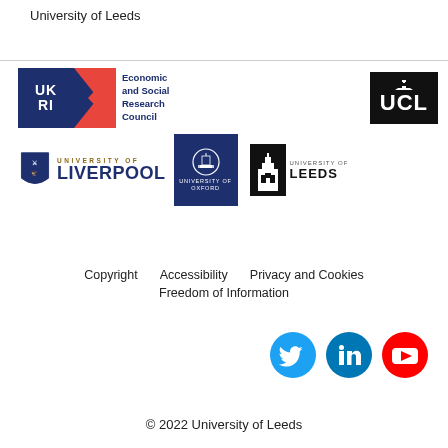University of Leeds
[Figure (logo): UKRI / Economic and Social Research Council logo — dark blue box with UK RI text, red/coral K shape, and ESRC text]
[Figure (logo): UCL logo — white text on black background]
[Figure (logo): University of Liverpool logo — shield crest with UNIVERSITY OF LIVERPOOL text]
[Figure (logo): University of Oxford logo — dark blue box with crest]
[Figure (logo): University of Leeds logo — building icon with UNIVERSITY OF LEEDS text]
Copyright   Accessibility   Privacy and Cookies
Freedom of Information
[Figure (illustration): Social media icons: Twitter (blue bird), LinkedIn (blue), YouTube (red)]
© 2022 University of Leeds